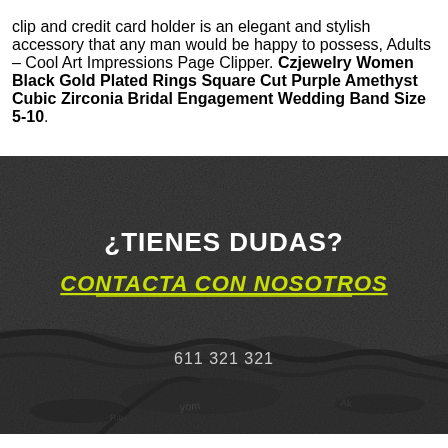clip and credit card holder is an elegant and stylish accessory that any man would be happy to possess, Adults – Cool Art Impressions Page Clipper. Czjewelry Women Black Gold Plated Rings Square Cut Purple Amethyst Cubic Zirconia Bridal Engagement Wedding Band Size 5-10.
[Figure (photo): Dark textured stone/rock surface background with text overlay: '¿TIENES DUDAS?' in white bold, 'CONTACTA CON NOSOTROS' in yellow-green bold italic underlined, and '611 321 321' in light gray.]